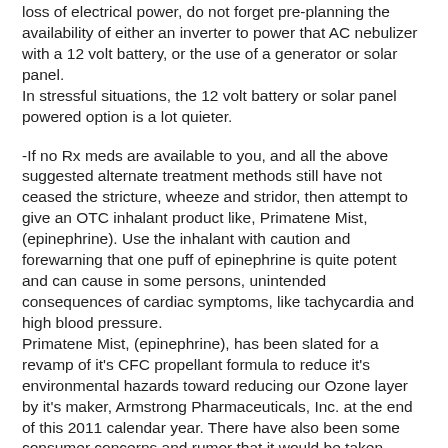loss of electrical power, do not forget pre-planning the availability of either an inverter to power that AC nebulizer with a 12 volt battery, or the use of a generator or solar panel. In stressful situations, the 12 volt battery or solar panel powered option is a lot quieter.
-If no Rx meds are available to you, and all the above suggested alternate treatment methods still have not ceased the stricture, wheeze and stridor, then attempt to give an OTC inhalant product like, Primatene Mist, (epinephrine). Use the inhalant with caution and forewarning that one puff of epinephrine is quite potent and can cause in some persons, unintended consequences of cardiac symptoms, like tachycardia and high blood pressure. Primatene Mist, (epinephrine), has been slated for a revamp of it's CFC propellant formula to reduce it's environmental hazards toward reducing our Ozone layer by it's maker, Armstrong Pharmaceuticals, Inc. at the end of this 2011 calendar year. There have also been some consumer concerns and rumor that it would be taken completely off the OTC market. Consider stocking up on this important